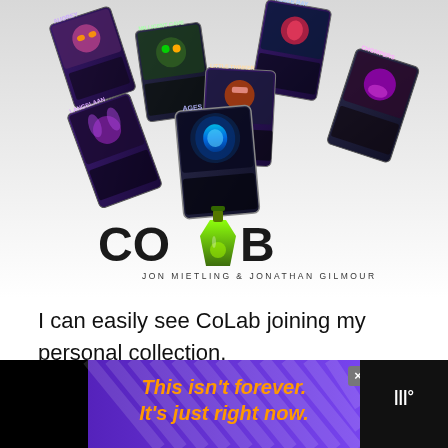[Figure (photo): Promotional image for the CoLab card game showing multiple illustrated game cards spread out in a fan arrangement, featuring fantasy monster characters with names like Audrey, Millicent Cave, Little Thinker, Freeze Ray, Chompers, Langelaan, and Ages. Below the cards is the CoLab logo with a green potion bottle as the 'A', followed by the byline 'Jon Mietling & Jonathan Gilmour'.]
I can easily see CoLab joining my personal collection.
[Figure (other): Advertisement banner with purple background and diagonal stripes reading 'This isn't forever. It's just right now.' in orange italic text. Has a close (X) button and what appears to be a logo on the right.]